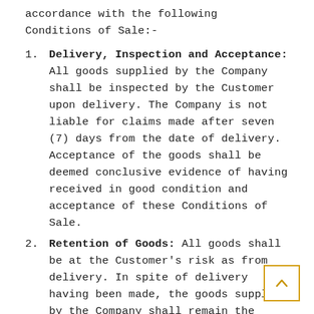accordance with the following Conditions of Sale:-
Delivery, Inspection and Acceptance: All goods supplied by the Company shall be inspected by the Customer upon delivery. The Company is not liable for claims made after seven (7) days from the date of delivery. Acceptance of the goods shall be deemed conclusive evidence of having received in good condition and acceptance of these Conditions of Sale.
Retention of Goods: All goods shall be at the Customer's risk as from delivery. In spite of delivery having been made, the goods supplied by the Company shall remain the property of the Company until all sums due to the Company, including the value of any dishonoured cheques or